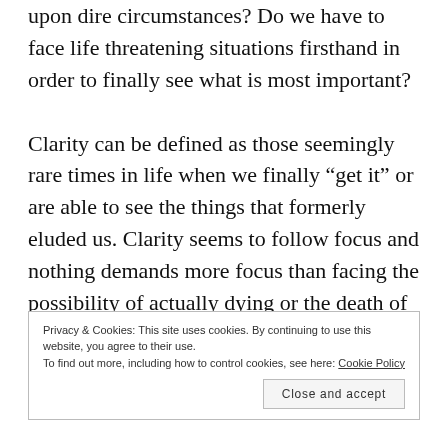upon dire circumstances? Do we have to face life threatening situations firsthand in order to finally see what is most important?
Clarity can be defined as those seemingly rare times in life when we finally “get it” or are able to see the things that formerly eluded us. Clarity seems to follow focus and nothing demands more focus than facing the possibility of actually dying or the death of someone you love. And amazingly, in the face of death we contemplate life. Suddenly the important
Privacy & Cookies: This site uses cookies. By continuing to use this website, you agree to their use.
To find out more, including how to control cookies, see here: Cookie Policy
Close and accept